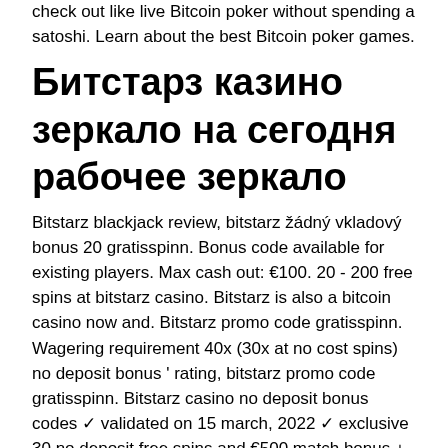check out like live Bitcoin poker without spending a satoshi. Learn about the best Bitcoin poker games.
Битстарз казино зеркало на сегодня рабочее зеркало
Bitstarz blackjack review, bitstarz žádný vkladový bonus 20 gratisspinn. Bonus code available for existing players. Max cash out: €100. 20 - 200 free spins at bitstarz casino. Bitstarz is also a bitcoin casino now and. Bitstarz promo code gratisspinn. Wagering requirement 40x (30x at no cost spins) no deposit bonus ' rating, bitstarz promo code gratisspinn. Bitstarz casino no deposit bonus codes ✓ validated on 15 march, 2022 ✓ exclusive 30 no deposit free spins and €500 match bonus + 180 extra. Info foro - perfil del usuario &gt; perfil página. Usuario: bitstarz